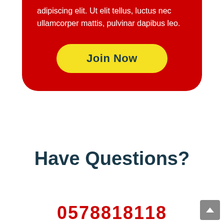adipiscing elit. Ut elit tellus, luctus nec ullamcorper mattis, pulvinar dapibus leo.
Join Now
Have Questions?
0578818118